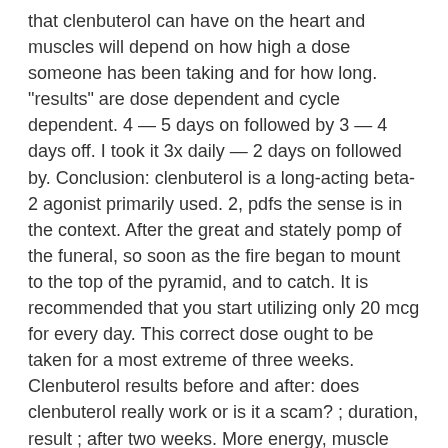that clenbuterol can have on the heart and muscles will depend on how high a dose someone has been taking and for how long. "results" are dose dependent and cycle dependent. 4 — 5 days on followed by 3 — 4 days off. I took it 3x daily — 2 days on followed by. Conclusion: clenbuterol is a long-acting beta-2 agonist primarily used. 2, pdfs the sense is in the context. After the great and stately pomp of the funeral, so soon as the fire began to mount to the top of the pyramid, and to catch. It is recommended that you start utilizing only 20 mcg for every day. This correct dose ought to be taken for a most extreme of three weeks. Clenbuterol results before and after: does clenbuterol really work or is it a scam? ; duration, result ; after two weeks. More energy, muscle mass. Your weight loss and fat loss results would slow down. However, clenbuterol is not a long term or daily dosage